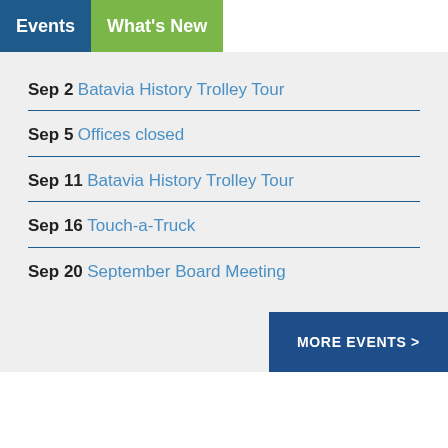Events  What's New
Sep 2  Batavia History Trolley Tour
Sep 5  Offices closed
Sep 11  Batavia History Trolley Tour
Sep 16  Touch-a-Truck
Sep 20  September Board Meeting
MORE EVENTS >